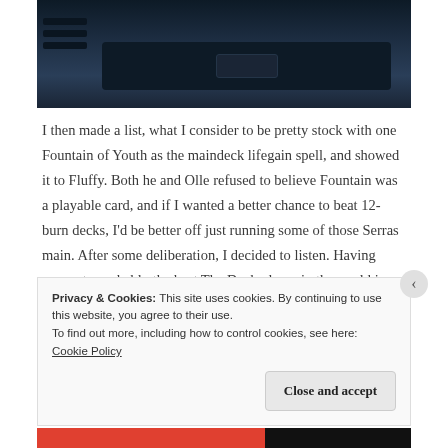[Figure (photo): Car interior dashboard showing dark vents and center console]
I then made a list, what I consider to be pretty stock with one Fountain of Youth as the maindeck lifegain spell, and showed it to Fluffy. Both he and Olle refused to believe Fountain was a playable card, and if I wanted a better chance to beat 12-burn decks, I'd be better off just running some of those Serras main. After some deliberation, I decided to listen. Having access to probably the best The Deck player in the world is a resource one should not easily squander.
Privacy & Cookies: This site uses cookies. By continuing to use this website, you agree to their use.
To find out more, including how to control cookies, see here: Cookie Policy
Close and accept